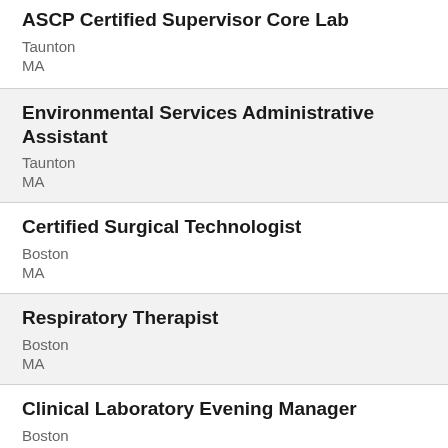ASCP Certified Supervisor Core Lab
Taunton
MA
Environmental Services Administrative Assistant
Taunton
MA
Certified Surgical Technologist
Boston
MA
Respiratory Therapist
Boston
MA
Clinical Laboratory Evening Manager
Boston